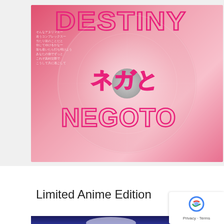[Figure (illustration): Japanese music CD cover art with pink/rose gradient background featuring a circular disc graphic. Large stylized 'DESTINY' text in pink outlined letters at top, Japanese katakana text in the middle, and 'NEGOTO' text in pink outlined letters at bottom. Small Japanese text overlaid on the disc.]
Limited Anime Edition
[Figure (illustration): Partial view of anime artwork showing a character with white/silver hair against a dark blue space-like background.]
[Figure (logo): reCAPTCHA badge with Google reCAPTCHA logo and 'Privacy - Terms' text]